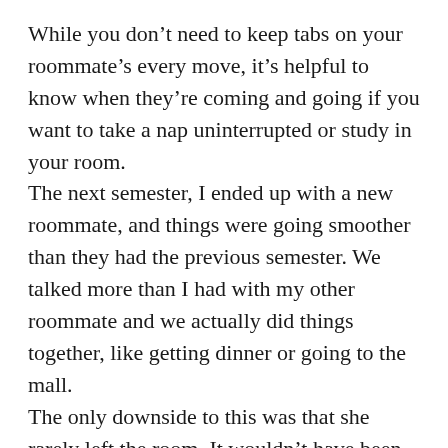While you don't need to keep tabs on your roommate's every move, it's helpful to know when they're coming and going if you want to take a nap uninterrupted or study in your room. The next semester, I ended up with a new roommate, and things were going smoother than they had the previous semester. We talked more than I had with my other roommate and we actually did things together, like getting dinner or going to the mall. The only downside to this was that she rarely left the room. It wouldn't have been too bad, but I'd become accustomed to a certain lifestyle — one of privacy. Near finals, this ended up creating an extremely stressful environment, with our